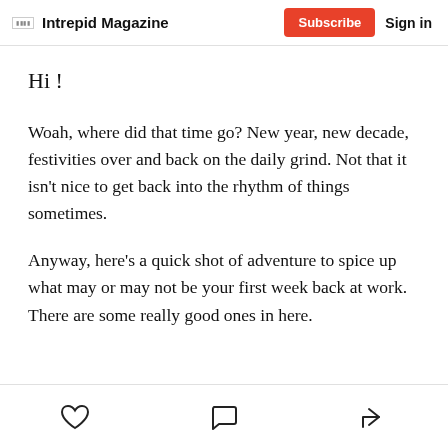Intrepid Magazine | Subscribe | Sign in
Hi !
Woah, where did that time go? New year, new decade, festivities over and back on the daily grind. Not that it isn't nice to get back into the rhythm of things sometimes.
Anyway, here's a quick shot of adventure to spice up what may or may not be your first week back at work. There are some really good ones in here.
[like] [comment] [share]